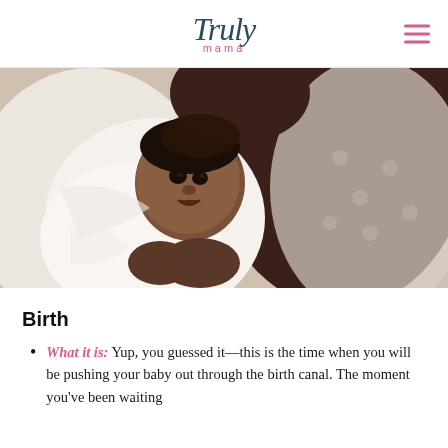Truly mama
[Figure (photo): A mother kissing a newborn baby wrapped in a white blanket, the baby is looking at the camera with its mouth slightly open]
Birth
What it is: Yup, you guessed it—this is the time when you will be pushing your baby out through the birth canal. The moment you've been waiting